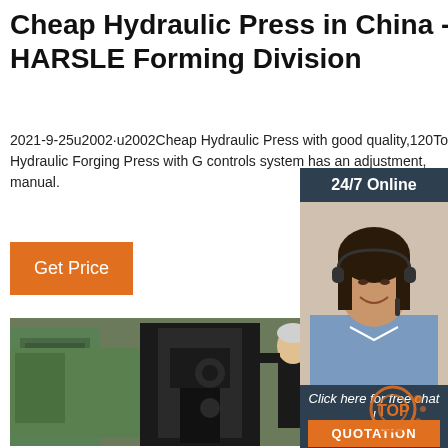Cheap Hydraulic Press in China - HARSLE Forming Division
2021-9-25u2002·u2002Cheap Hydraulic Press with good quality,120Ton Hydraulic Forging Press with G controls system has an adjustment, manual.
24/7 Online
[Figure (photo): Customer service agent woman wearing headset, smiling]
Get Price
Click here for free chat !
QUOTATION
[Figure (photo): Worker standing next to a large hydraulic press machine in an industrial workshop]